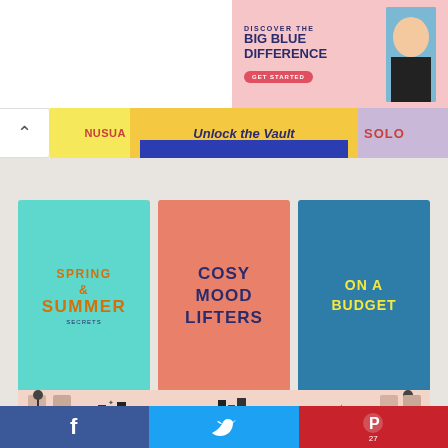[Figure (screenshot): Advertisement banner for 'Big Blue Difference' with pink background, dark blue bold text reading 'DISCOVER THE BIG BLUE DIFFERENCE', a red GET STARTED button, and a photo of a smiling child]
NUSUA
Unlock the Vault
SOLO
[Figure (infographic): Three colored category tiles: 1) Teal tile with orange text 'SPRING & SUMMER SECRETS', 2) Salmon/coral tile with navy text 'COSY MOOD LIFTERS', 3) Blue tile with yellow text 'ON A BUDGET']
[Figure (illustration): Decorative illustration on pink background showing a bookshelf scene with people reading, columns, lamps, stars and books in black and white vintage style]
[Figure (screenshot): Social media sharing bar with Facebook (blue), Twitter (light blue), and Pinterest (red) buttons. Pinterest shows count of 27.]